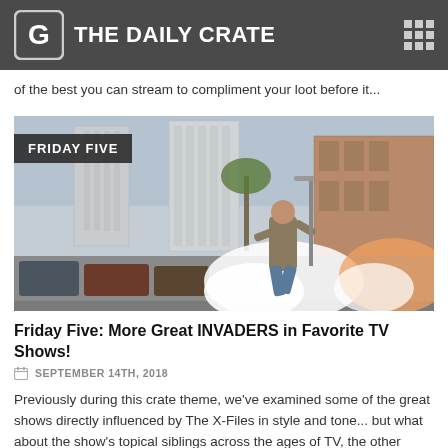THE DAILY CRATE
of the best you can stream to compliment your loot before it...
[Figure (photo): Action scene from a TV show: a person running in a city street with explosions/smoke effects, tall buildings in background. Badge reading FRIDAY FIVE in top left corner.]
Friday Five: More Great INVADERS in Favorite TV Shows!
SEPTEMBER 14TH, 2018
Previously during this crate theme, we've examined some of the great shows directly influenced by The X-Files in style and tone... but what about the show's topical siblings across the ages of TV, the other shows